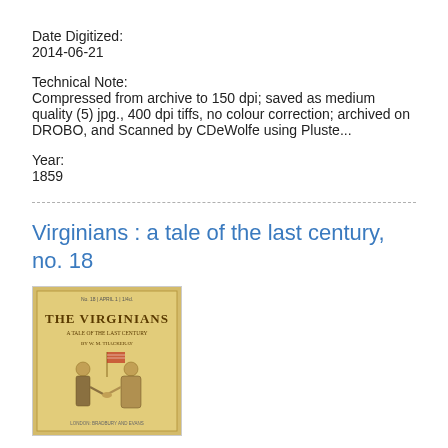Date Digitized:
2014-06-21
Technical Note:
Compressed from archive to 150 dpi; saved as medium quality (5) jpg., 400 dpi tiffs, no colour correction; archived on DROBO, and Scanned by CDeWolfe using Pluste...
Year:
1859
Virginians : a tale of the last century, no. 18
[Figure (photo): Book cover of 'The Virginians: A Tale of the Last Century' showing two figures shaking hands with a flag in the background, on a yellowed/aged cover]